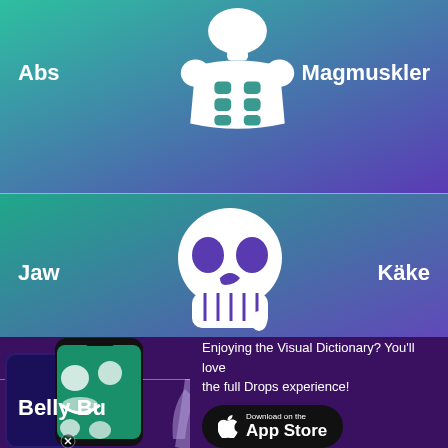[Figure (illustration): White icon of a muscular torso with six-pack abs, centered at top]
Abs
Magmuskler
[Figure (illustration): White icon of a human skull with jaw, centered in middle row]
Jaw
Käke
[Figure (illustration): Muted purple silhouette of human torso/upper body, centered in third row]
Belly Bu
Navel
[Figure (screenshot): Two overlapping smartphone mockups showing the Drops language learning app interface with illustrated vocabulary items]
Enjoying the Visual Dictionary? You'll love the full Drops experience!
[Figure (logo): Download on the App Store button (black rounded rectangle with Apple logo)]